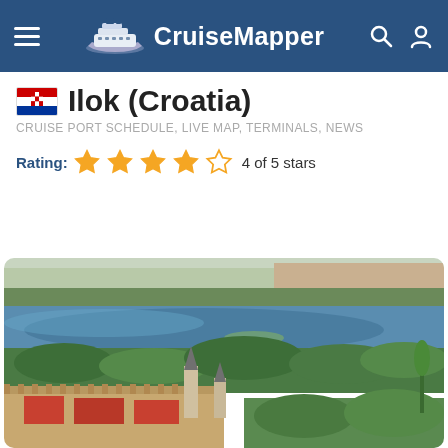CruiseMapper
Ilok (Croatia)
CRUISE PORT SCHEDULE, LIVE MAP, TERMINALS, NEWS
Rating: 4 of 5 stars
[Figure (photo): Aerial view of Ilok, Croatia showing the Danube River, forested riverbanks, a historic fortress with red-roofed buildings and a church tower in the foreground, and a town with residential buildings visible across the river in the background.]